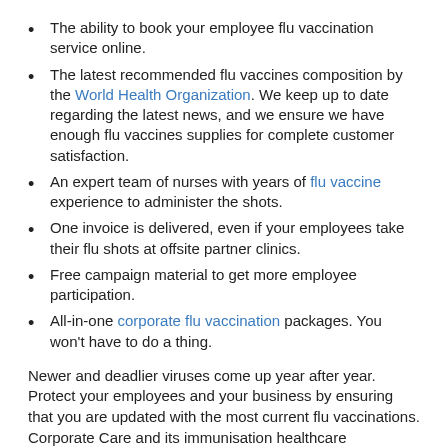The ability to book your employee flu vaccination service online.
The latest recommended flu vaccines composition by the World Health Organization. We keep up to date regarding the latest news, and we ensure we have enough flu vaccines supplies for complete customer satisfaction.
An expert team of nurses with years of flu vaccine experience to administer the shots.
One invoice is delivered, even if your employees take their flu shots at offsite partner clinics.
Free campaign material to get more employee participation.
All-in-one corporate flu vaccination packages. You won't have to do a thing.
Newer and deadlier viruses come up year after year. Protect your employees and your business by ensuring that you are updated with the most current flu vaccinations. Corporate Care and its immunisation healthcare practitioners will administer the latest flu shots to your employees in the most efficient way possible. We bring top-notch service with a friendly smile.